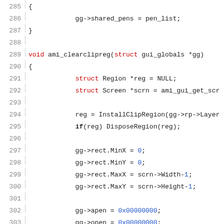[Figure (screenshot): Source code listing in C showing lines 285-314 of a graphics/GUI library. Lines include function ami_clearclipreg and static ami_plot_obtain_pen with struct types, hex values, and assignments.]